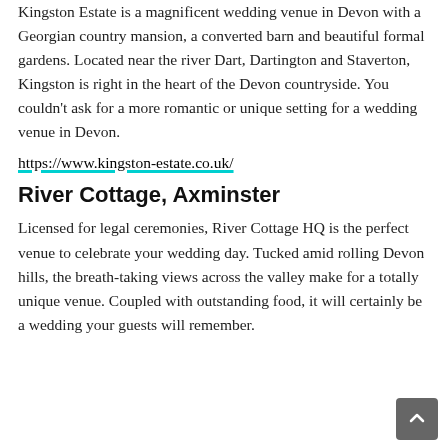Kingston Estate is a magnificent wedding venue in Devon with a Georgian country mansion, a converted barn and beautiful formal gardens. Located near the river Dart, Dartington and Staverton, Kingston is right in the heart of the Devon countryside. You couldn't ask for a more romantic or unique setting for a wedding venue in Devon.
https://www.kingston-estate.co.uk/
River Cottage, Axminster
Licensed for legal ceremonies, River Cottage HQ is the perfect venue to celebrate your wedding day. Tucked amid rolling Devon hills, the breath-taking views across the valley make for a totally unique venue. Coupled with outstanding food, it will certainly be a wedding your guests will remember.